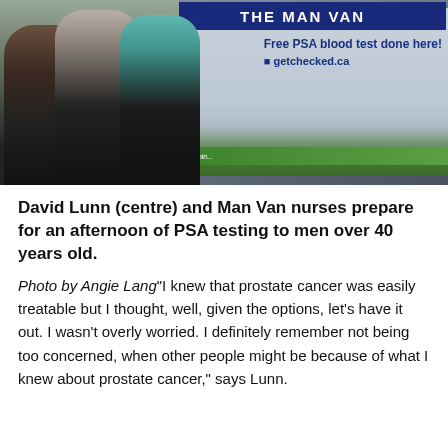[Figure (photo): David Lunn standing centre with two Man Van nurses in front of a large vehicle/bus with signage reading 'Free PSA blood test done here!' and 'getchecked.ca']
David Lunn (centre) and Man Van nurses prepare for an afternoon of PSA testing to men over 40 years old.
Photo by Angie Lang"I knew that prostate cancer was easily treatable but I thought, well, given the options, let's have it out. I wasn't overly worried. I definitely remember not being too concerned, when other people might be because of what I knew about prostate cancer," says Lunn.